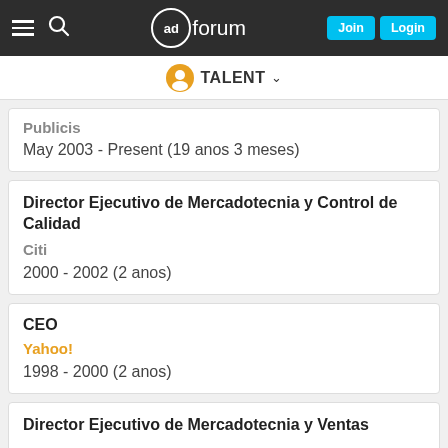adforum — Join Login
TALENT
Publicis
May 2003 - Present (19 anos 3 meses)
Director Ejecutivo de Mercadotecnia y Control de Calidad
Citi
2000 - 2002 (2 anos)
CEO
Yahoo!
1998 - 2000 (2 anos)
Director Ejecutivo de Mercadotecnia y Ventas